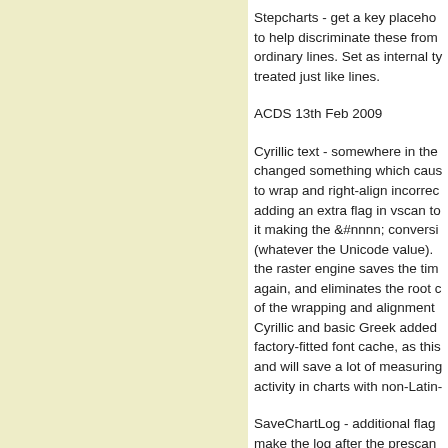Stepcharts - get a key placeholder to help discriminate these from ordinary lines. Set as internal type, treated just like lines.
ACDS 13th Feb 2009
Cyrillic text - somewhere in the changed something which caused to wrap and right-align incorrectly. adding an extra flag in vscan to it making the &#nnnn; conversion (whatever the Unicode value). the raster engine saves the time again, and eliminates the root of the wrapping and alignment Cyrillic and basic Greek added factory-fitted font cache, as this and will save a lot of measuring activity in charts with non-Latin
SaveChartLog - additional flag make the log after the prescan which is used to clean up output eps. This shows the output of the HTML scanner which resolves fragments for engines which do directly support HTML-style tags